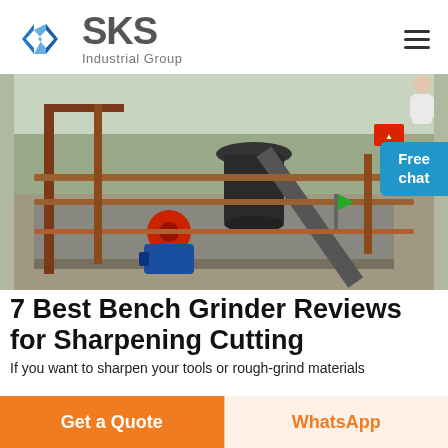SKS Industrial Group
[Figure (photo): Industrial machinery site with a large crusher/grinder machine, conveyor belt, blue electric motor, and red belt drive mechanism on a concrete platform outdoors.]
7 Best Bench Grinder Reviews for Sharpening Cutting
If you want to sharpen your tools or rough-grind materials
Get a Quote
WhatsApp